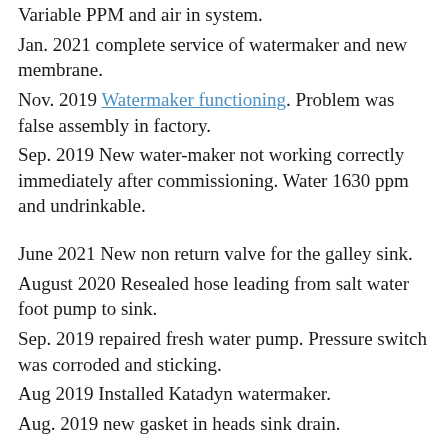Variable PPM and air in system.
Jan. 2021 complete service of watermaker and new membrane.
Nov. 2019 Watermaker functioning. Problem was false assembly in factory.
Sep. 2019 New water-maker not working correctly immediately after commissioning. Water 1630 ppm and undrinkable.
June 2021 New non return valve for the galley sink.
August 2020 Resealed hose leading from salt water foot pump to sink.
Sep. 2019 repaired fresh water pump. Pressure switch was corroded and sticking.
Aug 2019 Installed Katadyn watermaker.
Aug. 2019 new gasket in heads sink drain.